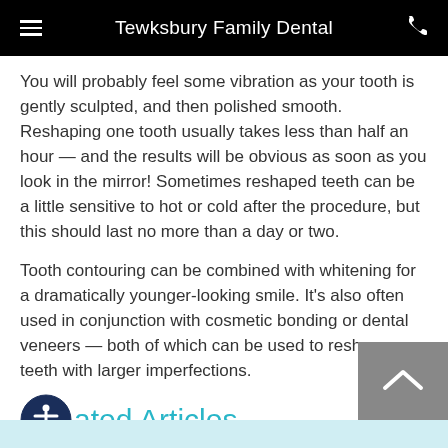Tewksbury Family Dental
You will probably feel some vibration as your tooth is gently sculpted, and then polished smooth. Reshaping one tooth usually takes less than half an hour — and the results will be obvious as soon as you look in the mirror! Sometimes reshaped teeth can be a little sensitive to hot or cold after the procedure, but this should last no more than a day or two.
Tooth contouring can be combined with whitening for a dramatically younger-looking smile. It's also often used in conjunction with cosmetic bonding or dental veneers — both of which can be used to reshape teeth with larger imperfections.
Related Articles